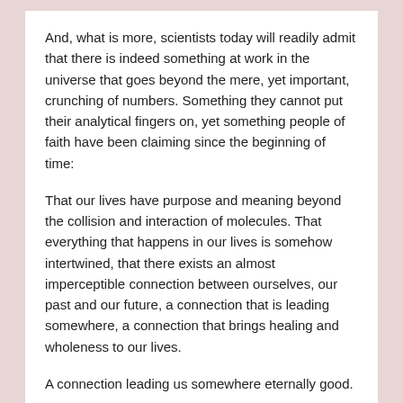And, what is more, scientists today will readily admit that there is indeed something at work in the universe that goes beyond the mere, yet important, crunching of numbers. Something they cannot put their analytical fingers on, yet something people of faith have been claiming since the beginning of time:
That our lives have purpose and meaning beyond the collision and interaction of molecules. That everything that happens in our lives is somehow intertwined, that there exists an almost imperceptible connection between ourselves, our past and our future, a connection that is leading somewhere, a connection that brings healing and wholeness to our lives.
A connection leading us somewhere eternally good.
[1]Ephesians 3:1-12
[2]